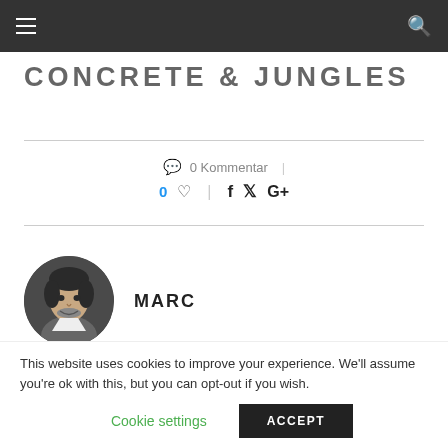CONCRETE &JUNGLES
0 Kommentar
0 ♡  |  f  🐦  G+
MARC
[Figure (photo): Circular profile photo of a man (Marc)]
This website uses cookies to improve your experience. We'll assume you're ok with this, but you can opt-out if you wish.
Cookie settings   ACCEPT